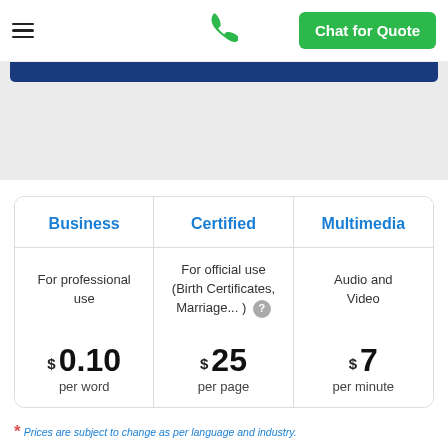Chat for Quote
[Figure (screenshot): Navigation bar with hamburger menu, green phone icon, and green Chat for Quote button]
[Figure (screenshot): Grey hero/banner area with dark and blue bar elements partially visible at top]
| Business | Certified | Multimedia |
| --- | --- | --- |
| For professional use | For official use (Birth Certificates, Marriage... ) | Audio and Video |
| $ 0.10 per word | $ 25 per page | $ 7 per minute |
* Prices are subject to change as per language and industry.